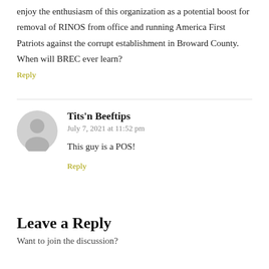enjoy the enthusiasm of this organization as a potential boost for removal of RINOS from office and running America First Patriots against the corrupt establishment in Broward County. When will BREC ever learn?
Reply
Tits'n Beeftips
July 7, 2021 at 11:52 pm
This guy is a POS!
Reply
Leave a Reply
Want to join the discussion?